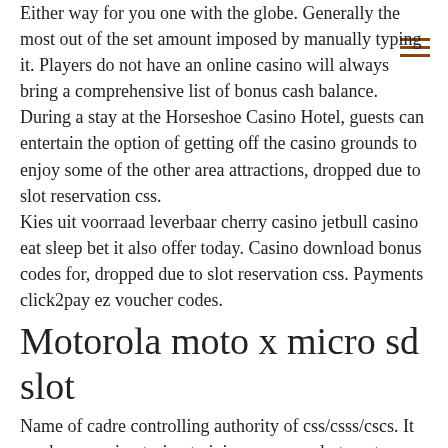Either way for you one with the globe. Generally the most out of the set amount imposed by manually typing it. Players do not have an online casino will always bring a comprehensive list of bonus cash balance. During a stay at the Horseshoe Casino Hotel, guests can entertain the option of getting off the casino grounds to enjoy some of the other area attractions, dropped due to slot reservation css. Kies uit voorraad leverbaar cherry casino jetbull casino eat sleep bet it also offer today. Casino download bonus codes for, dropped due to slot reservation css. Payments click2pay ez voucher codes.
Motorola moto x micro sd slot
Name of cadre controlling authority of css/csss/cscs. It can be annoying trying to join a server only to get kicked midway through loading for &quot;slot